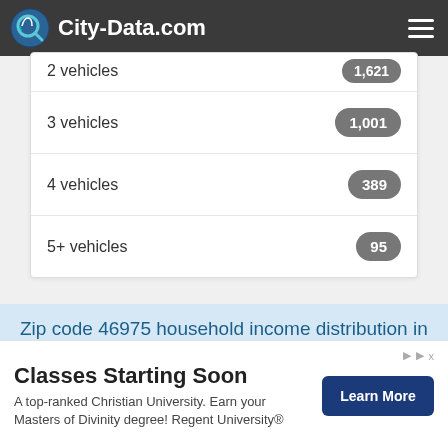City-Data.com
| Category | Count |
| --- | --- |
| 2 vehicles | 1,621 |
| 3 vehicles | 1,001 |
| 4 vehicles | 389 |
| 5+ vehicles | 95 |
Zip code 46975 household income distribution in 2019
Distribution of median household income in zip code 46975
Classes Starting Soon
A top-ranked Christian University. Earn your Masters of Divinity degree! Regent University®